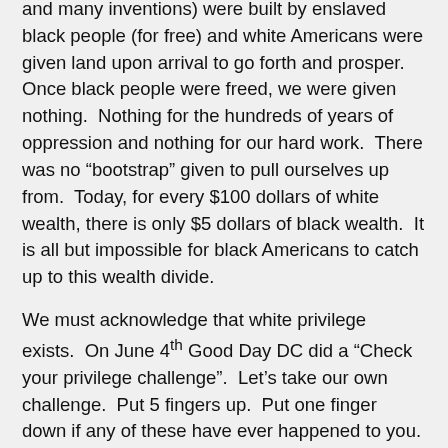and many inventions) were built by enslaved black people (for free) and white Americans were given land upon arrival to go forth and prosper.  Once black people were freed, we were given nothing.  Nothing for the hundreds of years of oppression and nothing for our hard work.  There was no “bootstrap” given to pull ourselves up from.  Today, for every $100 dollars of white wealth, there is only $5 dollars of black wealth.  It is all but impossible for black Americans to catch up to this wealth divide.
We must acknowledge that white privilege exists.  On June 4th Good Day DC did a “Check your privilege challenge”.  Let’s take our own challenge.  Put 5 fingers up.  Put one finger down if any of these have ever happened to you.
You fear for your life in the presence of the police.
You were questioned about your right to belong in a neighborhood or public space.